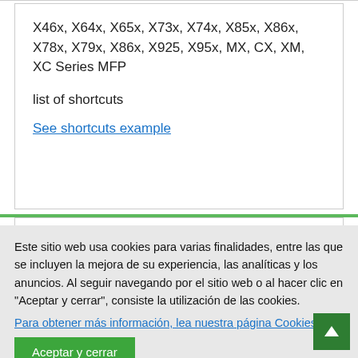X46x, X64x, X65x, X73x, X74x, X85x, X86x, X78x, X79x, X86x, X925, X95x, MX, CX, XM, XC Series MFP
list of shortcuts
See shortcuts example
Este sitio web usa cookies para varias finalidades, entre las que se incluyen la mejora de su experiencia, las analíticas y los anuncios. Al seguir navegando por el sitio web o al hacer clic en "Aceptar y cerrar", consiente la utilización de las cookies.
Para obtener más información, lea nuestra página Cookies
Aceptar y cerrar